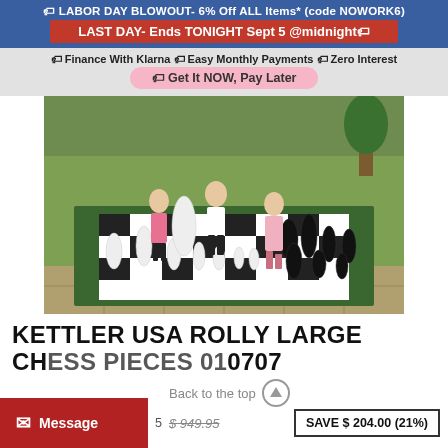🏷 LABOR DAY BLOWOUT- 6% Off ALL Items* (code NOWORK6)
LAST DAY- Ends TONIGHT Sept 5 @midnight🏷
🏷 Finance With Klarna 🏷 Easy Monthly Payments 🏷 Zero Interest
🏷 Get It Now, Pay Later
[Figure (photo): Three children playing with giant outdoor chess pieces on a large chess mat on a patio/garden area. White and black oversized chess pieces arranged on a green-bordered black and white chess board.]
KETTLER USA ROLLY LARGE CHESS PIECES 010707
Back to the top
$ 949.95  SAVE $ 204.00 (21%)